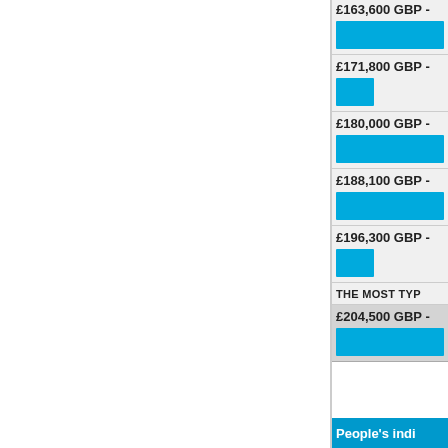[Figure (bar-chart): Salary distribution (GBP)]
THE MOST TYP
People's indi